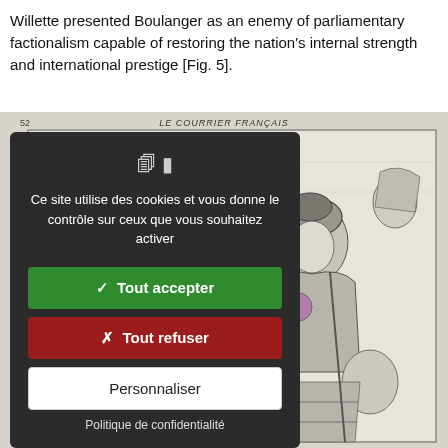Willette presented Boulanger as an enemy of parliamentary factionalism capable of restoring the nation's internal strength and international prestige [Fig. 5].
[Figure (illustration): A historical black and white engraving from 'Le Courrier Français' showing a woman in decorative armor/helmet (allegorical figure) with a man beside her, with other figures in the background. A cookie consent overlay popup is displayed on top of the image.]